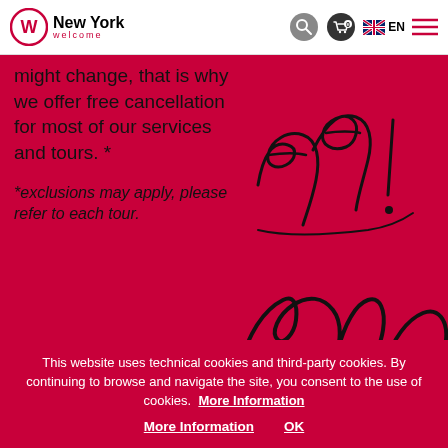New York Welcome — navigation bar with logo, search, cart, EN language selector, and hamburger menu
might change, that is why we offer free cancellation for most of our services and tours. *
[Figure (illustration): Handwritten cursive text reading 'be free!' in black ink on red background]
*exclusions may apply, please refer to each tour.
[Figure (illustration): Partial handwritten cursive text beginning 'What' or similar, partially cut off at right edge, black on white background]
This website uses technical cookies and third-party cookies. By continuing to browse and navigate the site, you consent to the use of cookies.  More Information  OK